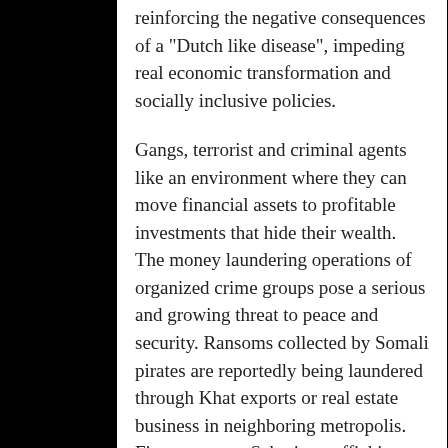reinforcing the negative consequences of a “Dutch like disease”, impeding real economic transformation and socially inclusive policies.
Gangs, terrorist and criminal agents like an environment where they can move financial assets to profitable investments that hide their wealth.  The money laundering operations of organized crime groups pose a serious and growing threat to peace and security. Ransoms collected by Somali pirates are reportedly being laundered through Khat exports or real estate business in neighboring metropolis.  Firearms trans-Saharian trafficking to rebel movements is allegedly being mixed with other trafficking, such as human and drugs related, that find their way into nice villas or quasi legitimate